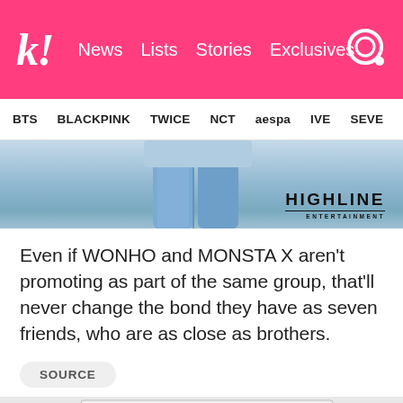k! News Lists Stories Exclusives
BTS BLACKPINK TWICE NCT aespa IVE SEVE
[Figure (photo): Partial photo of person in light blue jeans with Highline Entertainment logo watermark]
Even if WONHO and MONSTA X aren’t promoting as part of the same group, that’ll never change the bond they have as seven friends, who are as close as brothers.
SOURCE
[Figure (photo): Group photo of six young men (MONSTA X members) posing together, some making peace signs, in a room with a whiteboard behind them]